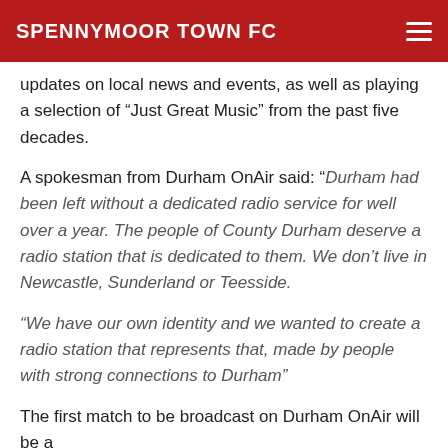SPENNYMOOR TOWN FC
updates on local news and events, as well as playing a selection of “Just Great Music” from the past five decades.
A spokesman from Durham OnAir said: “Durham had been left without a dedicated radio service for well over a year. The people of County Durham deserve a radio station that is dedicated to them. We don’t live in Newcastle, Sunderland or Teesside.
“We have our own identity and we wanted to create a radio station that represents that, made by people with strong connections to Durham”
The first match to be broadcast on Durham OnAir will be a